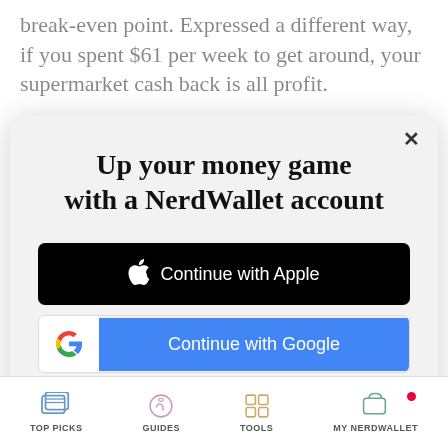break-even point. Expressed a different way, if you spent $61 per week to get around, your supermarket cash back is all profit.
[Figure (screenshot): Modal dialog on NerdWallet website prompting user to sign up. Contains title 'Up your money game with a NerdWallet account', a black 'Continue with Apple' button, a 'Continue with Google' button (white/blue with Google G logo), 'or continue with email' text link, and terms of service/privacy policy disclaimer text. An X close button is in the top right.]
or continue with email
By signing up, I agree to NerdWallet's Terms of Service and Privacy Policy.
TOP PICKS  GUIDES  TOOLS  MY NERDWALLET